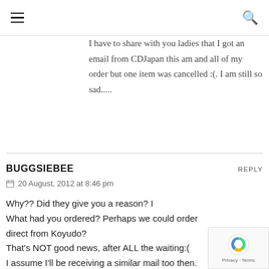☰ 🔍
I have to share with you ladies that I got an email from CDJapan this am and all of my order but one item was cancelled :(. I am still so sad.....
BUGGSIEBEE   REPLY
📅 20 August, 2012 at 8:46 pm

Why?? Did they give you a reason? I What had you ordered? Perhaps we could order direct from Koyudo?
That's NOT good news, after ALL the waiting:(
I assume I'll be receiving a similar mail too then.
Oh rats!!!!!!